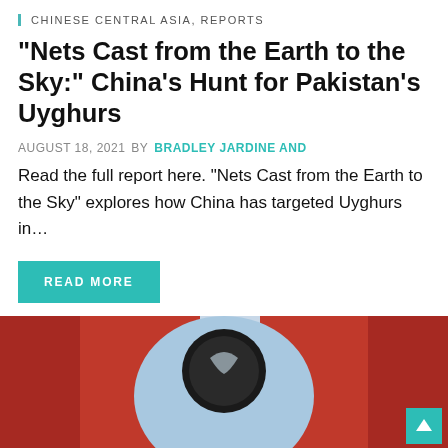CHINESE CENTRAL ASIA, REPORTS
“Nets Cast from the Earth to the Sky:” China’s Hunt for Pakistan’s Uyghurs
AUGUST 18, 2021   BY BRADLEY JARDINE AND
Read the full report here. “Nets Cast from the Earth to the Sky” explores how China has targeted Uyghurs in…
READ MORE
[Figure (photo): Close-up photo showing red fabric and a blue Uyghur crescent-moon flag or emblem, with a black circular object. A teal scroll-to-top button is visible in the bottom right corner.]